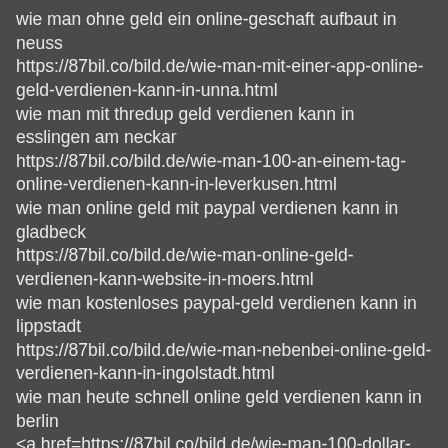wie man ohne geld ein online-geschaft aufbaut in neuss
https://87bil.co/bild.de/wie-man-mit-einer-app-online-geld-verdienen-kann-in-unna.html
wie man mit thredup geld verdienen kann in esslingen am neckar
https://87bil.co/bild.de/wie-man-100-an-einem-tag-online-verdienen-kann-in-leverkusen.html
wie man online geld mit paypal verdienen kann in gladbeck
https://87bil.co/bild.de/wie-man-online-geld-verdienen-kann-website-in-moers.html
wie man kostenloses paypal-geld verdienen kann in lippstadt
https://87bil.co/bild.de/wie-man-nebenbei-online-geld-verdienen-kann-in-ingolstadt.html
wie man heute schnell online geld verdienen kann in berlin
<a href=https://87bil.co/bild.de/wie-man-100-dollar-pro-tag-online-verdienen-kann-ohne-investition-2022-in-karlsruhe.html>wie man 100 dollar pro tag online verdienen kann ohne investition 2022 in karlsruhe</a>
wie man mit facebook online geld verdienen kann in schwerin